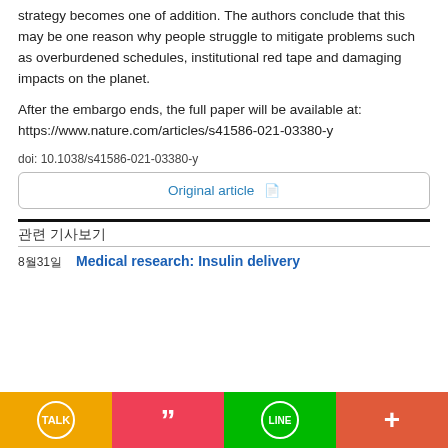strategy becomes one of addition. The authors conclude that this may be one reason why people struggle to mitigate problems such as overburdened schedules, institutional red tape and damaging impacts on the planet.
After the embargo ends, the full paper will be available at: https://www.nature.com/articles/s41586-021-03380-y
doi: 10.1038/s41586-021-03380-y
Original article
관련 기사보기
8월31일   Medical research: Insulin delivery